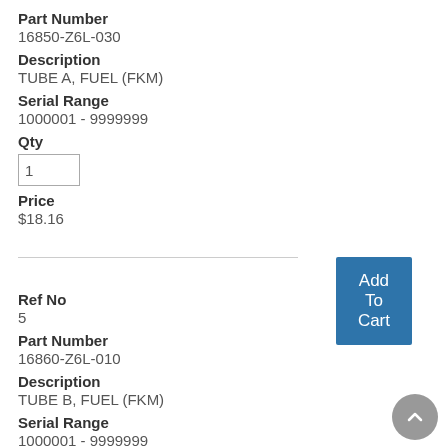Part Number
16850-Z6L-030
Description
TUBE A, FUEL (FKM)
Serial Range
1000001 - 9999999
Qty
1
Price
$18.16
Add To Cart
Ref No
5
Part Number
16860-Z6L-010
Description
TUBE B, FUEL (FKM)
Serial Range
1000001 - 9999999